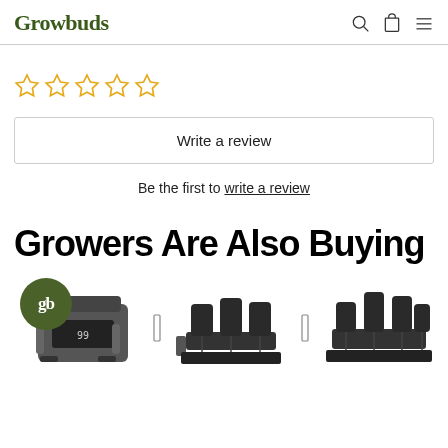Growbuds
[Figure (other): Five empty star rating icons in gold/yellow outline]
Write a review
Be the first to write a review
Growers Are Also Buying
[Figure (photo): Three product images in a row: a digital timer/controller device with a green 'gb' Growbuds logo badge overlay, a set of black hydroponic pots system, and another set of black hydroponic pots. Navigation arrows between products.]